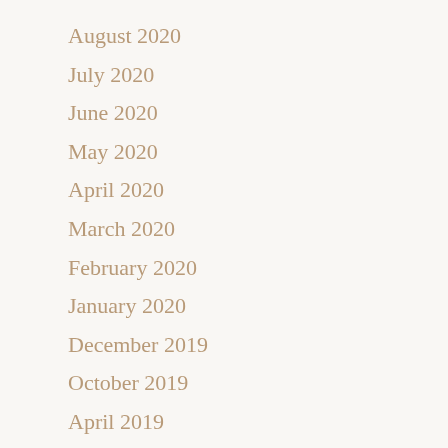August 2020
July 2020
June 2020
May 2020
April 2020
March 2020
February 2020
January 2020
December 2019
October 2019
April 2019
March 2019
February 2019
January 2019